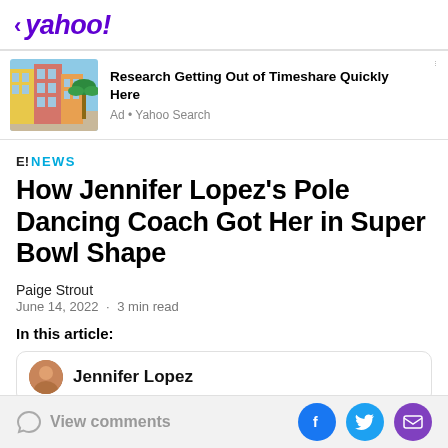< yahoo!
[Figure (screenshot): Ad banner: colorful Mediterranean-style building with palm tree. Text: Research Getting Out of Timeshare Quickly Here. Ad · Yahoo Search]
E! NEWS
How Jennifer Lopez's Pole Dancing Coach Got Her in Super Bowl Shape
Paige Strout
June 14, 2022 · 3 min read
In this article:
Jennifer Lopez
View comments